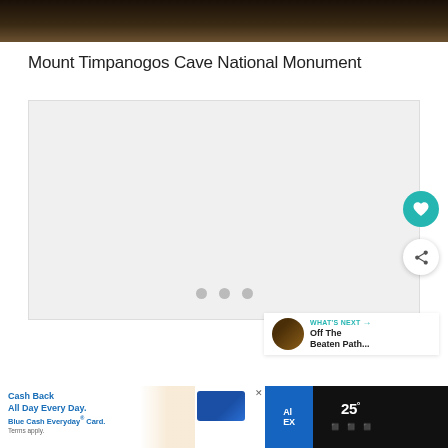[Figure (photo): Partial top image with dark background showing cave or nature scene]
Mount Timpanogos Cave National Monument
[Figure (photo): Large image area with three gray navigation dots at bottom, heart favorite button, share button, and 'What's Next - Off The Beaten Path...' card]
[Figure (screenshot): Bottom advertisement bar showing Blue Cash Everyday Card advertisement with American Express logo, and weather widget showing 25°C]